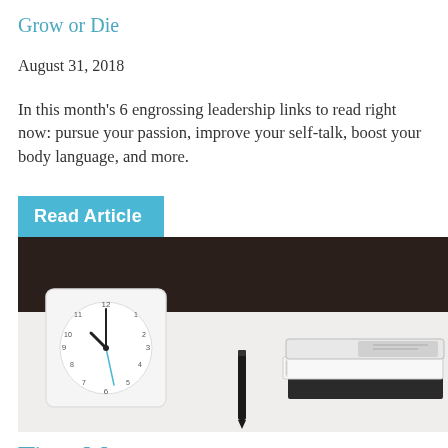Grow or Die
August 31, 2018
In this month's 6 engrossing leadership links to read right now: pursue your passion, improve your self-talk, boost your body language, and more.
Read Article
[Figure (photo): A white square desk clock showing approximately 10:10, a black pen, and a stack of notebooks/books on a white surface with a dark background.]
Time Management